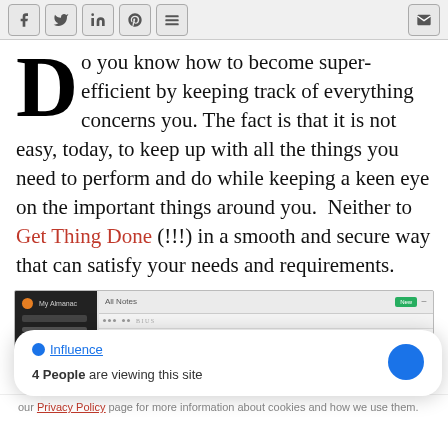Social share bar with Facebook, Twitter, LinkedIn, Pinterest, Buffer, and Email icons
Do you know how to become super-efficient by keeping track of everything concerns you. The fact is that it is not easy, today, to keep up with all the things you need to perform and do while keeping a keen eye on the important things around you.  Neither to Get Thing Done (!!!) in a smooth and secure way that can satisfy your needs and requirements.
[Figure (screenshot): Screenshot of a note-taking application interface showing a dark sidebar and main content area with toolbar]
Influence
4 People are viewing this site
our Privacy Policy page for more information about cookies and how we use them.